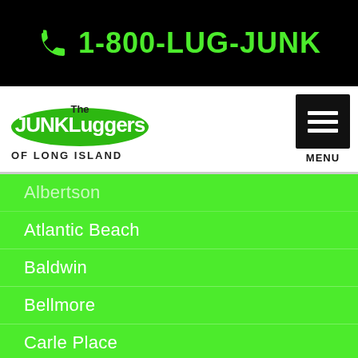1-800-LUG-JUNK
[Figure (logo): The Junkluggers of Long Island logo with green oval background and white text]
Albertson
Atlantic Beach
Baldwin
Bellmore
Carle Place
Cedarhurst
East Meadow
East Rockaway
Elmont
SERVICE AREA   BOOK NOW